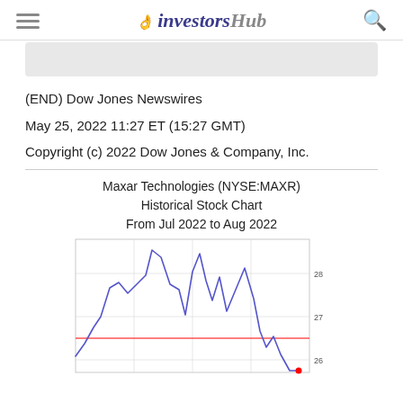investorsHub
(END) Dow Jones Newswires
May 25, 2022 11:27 ET (15:27 GMT)
Copyright (c) 2022 Dow Jones & Company, Inc.
[Figure (continuous-plot): Line chart showing Maxar Technologies (NYSE:MAXR) historical stock price from Jul 2022 to Aug 2022. The blue line shows price fluctuations roughly between 25.5 and 29.5. A horizontal red line appears around the 26.6 level. A red dot appears at the bottom right near 25.5 at the end of the period.]